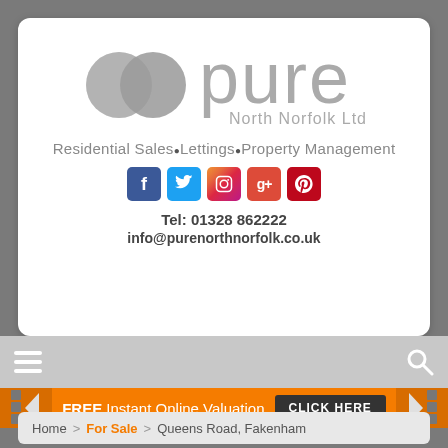[Figure (logo): Pure North Norfolk Ltd logo with two overlapping grey circles and the word 'pure' in large grey text, with 'North Norfolk Ltd' below]
Residential Sales●Lettings●Property Management
[Figure (infographic): Social media icons: Facebook, Twitter, Instagram, Google+, Pinterest]
Tel: 01328 862222
info@purenorthnorfolk.co.uk
[Figure (infographic): Navigation bar with hamburger menu icon on left and search icon on right]
FREE Instant Online Valuation   CLICK HERE
Home > For Sale > Queens Road, Fakenham